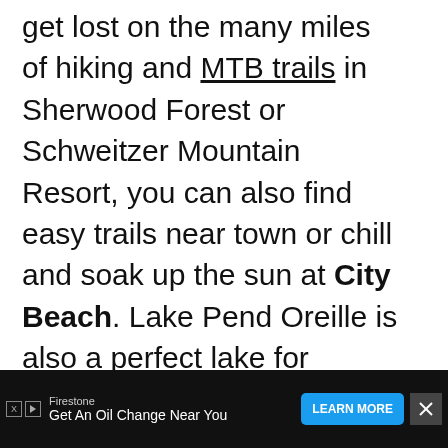get lost on the many miles of hiking and MTB trails in Sherwood Forest or Schweitzer Mountain Resort, you can also find easy trails near town or chill and soak up the sun at City Beach. Lake Pend Oreille is also a perfect lake for powerboating and I so wish we had rented a boat to get a day of wakeboarding and inner-tubing in.
[Figure (screenshot): UI overlay showing a teal heart/like button with count of 5 and a share button with plus icon]
[Figure (screenshot): What's Next promo card: 'Sea to Sky Road Trip: 2...' with thumbnail image]
[Figure (screenshot): Advertisement bar at bottom: Firestone 'Get An Oil Change Near You' with Learn More button and close X button]